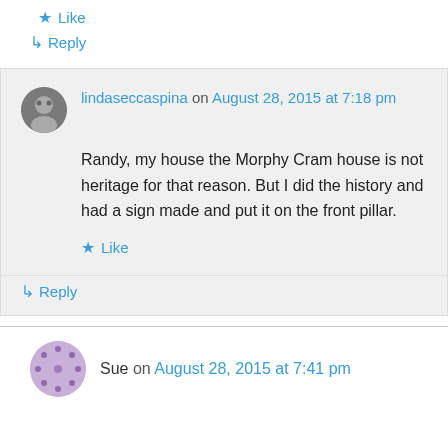★ Like
↪ Reply
lindaseccaspina on August 28, 2015 at 7:18 pm
Randy, my house the Morphy Cram house is not heritage for that reason. But I did the history and had a sign made and put it on the front pillar.
★ Like
↪ Reply
Sue on August 28, 2015 at 7:41 pm